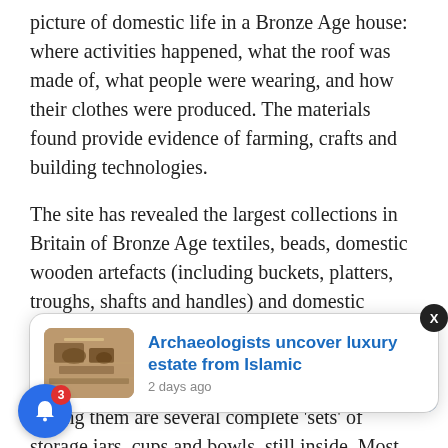picture of domestic life in a Bronze Age house: where activities happened, what the roof was made of, what people were wearing, and how their clothes were produced. The materials found provide evidence of farming, crafts and building technologies.
The site has revealed the largest collections in Britain of Bronze Age textiles, beads, domestic wooden artefacts (including buckets, platters, troughs, shafts and handles) and domestic metalwork (axes, sickles, hammers, spears, gouges, razors, knives and awls). It has also yielded a wide range of household items; among them are several complete 'sets' of storage jars, cups and b[owls], still i[ns]ide. Most [were found] in the sa[me location].
[Figure (photo): Thumbnail photo of an archaeological dig site showing excavated ruins, used in a notification popup card.]
Archaeologists uncover luxury estate from Islamic
2 days ago